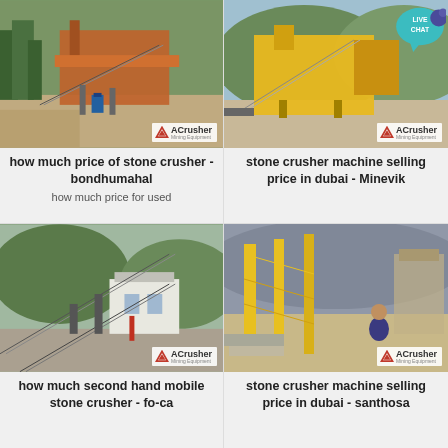[Figure (photo): Stone crusher machine at an outdoor site with industrial equipment, trees in background. ACrusher logo badge in lower right.]
how much price of stone crusher - bondhumahal
how much price for used
[Figure (photo): Stone crusher machine selling in Dubai, large yellow industrial crusher on open ground with hills in background. ACrusher logo badge and LIVE CHAT bubble overlay.]
stone crusher machine selling price in dubai - Minevik
[Figure (photo): Second hand mobile stone crusher on a construction site with conveyor belts and a white building. ACrusher logo badge.]
how much second hand mobile stone crusher - fo-ca
[Figure (photo): Stone crusher machine in Dubai with yellow frame, man sitting in front. ACrusher logo badge.]
stone crusher machine selling price in dubai - santhosa